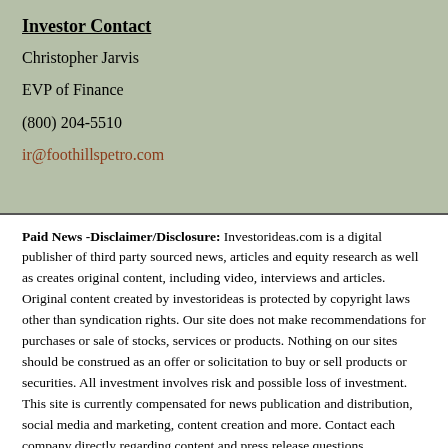Investor Contact
Christopher Jarvis
EVP of Finance
(800) 204-5510
ir@foothillspetro.com
Paid News -Disclaimer/Disclosure: Investorideas.com is a digital publisher of third party sourced news, articles and equity research as well as creates original content, including video, interviews and articles. Original content created by investorideas is protected by copyright laws other than syndication rights. Our site does not make recommendations for purchases or sale of stocks, services or products. Nothing on our sites should be construed as an offer or solicitation to buy or sell products or securities. All investment involves risk and possible loss of investment. This site is currently compensated for news publication and distribution, social media and marketing, content creation and more. Contact each company directly regarding content and press release questions. Disclosure is posted for each compensated news release, content published to investorideas.com...